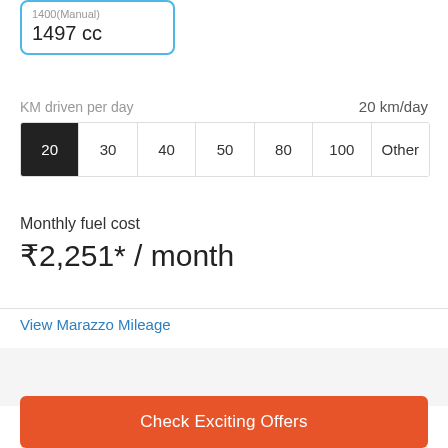1497 cc
KM driven per day   20 km/day
| 20 | 30 | 40 | 50 | 80 | 100 | Other |
| --- | --- | --- | --- | --- | --- | --- |
Monthly fuel cost
₹2,251* / month
View Marazzo Mileage
Check Exciting Offers